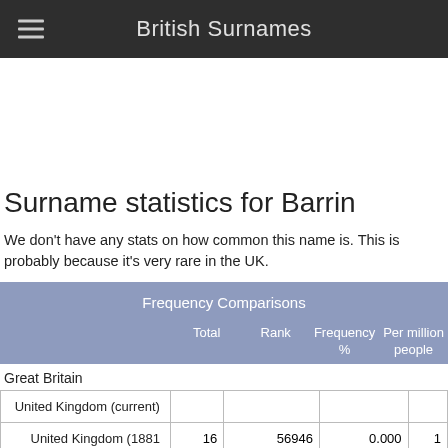British Surnames
Surname statistics for Barrin
We don't have any stats on how common this name is. This is probably because it's very rare in the UK.
|  | Total | Rank | Frequency % | Per million people |
| --- | --- | --- | --- | --- |
| Great Britain |  |  |  |  |
| United Kingdom (current) |  |  |  |  |
| United Kingdom (1881 | 16 | 56946 | 0.000 | 1 |